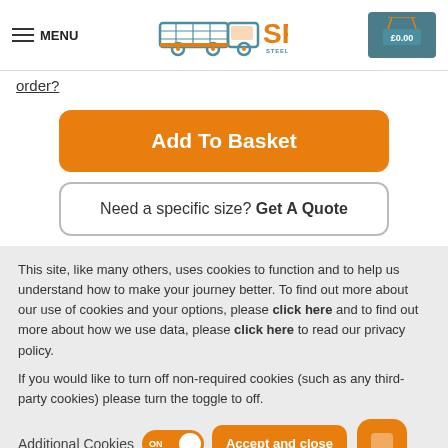[Figure (screenshot): SPD Steel Products Direct website header with menu icon, truck logo, SPD orange text, and shopping cart showing £0.00]
order?
Add To Basket
Need a specific size? Get A Quote
This site, like many others, uses cookies to function and to help us understand how to make your journey better. To find out more about our use of cookies and your options, please click here and to find out more about how we use data, please click here to read our privacy policy.
If you would like to turn off non-required cookies (such as any third-party cookies) please turn the toggle to off.
Additional Cookies ON   Accept and close